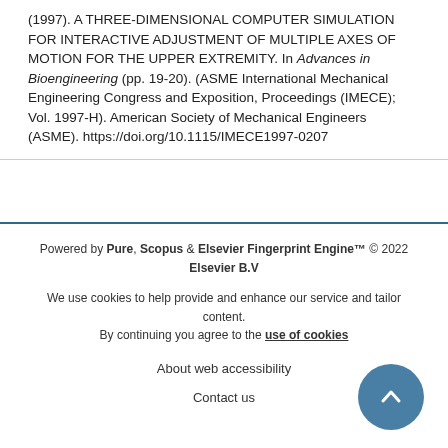(1997). A THREE-DIMENSIONAL COMPUTER SIMULATION FOR INTERACTIVE ADJUSTMENT OF MULTIPLE AXES OF MOTION FOR THE UPPER EXTREMITY. In Advances in Bioengineering (pp. 19-20). (ASME International Mechanical Engineering Congress and Exposition, Proceedings (IMECE); Vol. 1997-H). American Society of Mechanical Engineers (ASME). https://doi.org/10.1115/IMECE1997-0207
Powered by Pure, Scopus & Elsevier Fingerprint Engine™ © 2022 Elsevier B.V

We use cookies to help provide and enhance our service and tailor content. By continuing you agree to the use of cookies

About web accessibility

Contact us